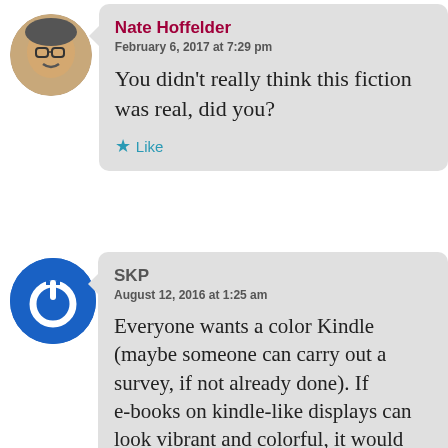[Figure (photo): Circular avatar photo of Nate Hoffelder]
Nate Hoffelder
February 6, 2017 at 7:29 pm
You didn't really think this fiction was real, did you?
Like
[Figure (logo): Circular blue power button icon avatar for SKP]
SKP
August 12, 2016 at 1:25 am
Everyone wants a color Kindle (maybe someone can carry out a survey, if not already done). If e-books on kindle-like displays can look vibrant and colorful, it would open up a whole new